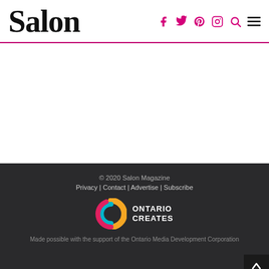Salon [logo] with social icons: Facebook, Twitter, Pinterest, Instagram, Search, Menu
[Figure (logo): Ontario Creates logo — circular icon with orange, teal, and red arcs plus wordmark ONTARIO CREATES]
© 2020 Salon Magazine
Privacy | Contact | Advertise | Subscribe
[Ontario Creates logo]
Made possible with the support of the Ontario Media Development Corporation